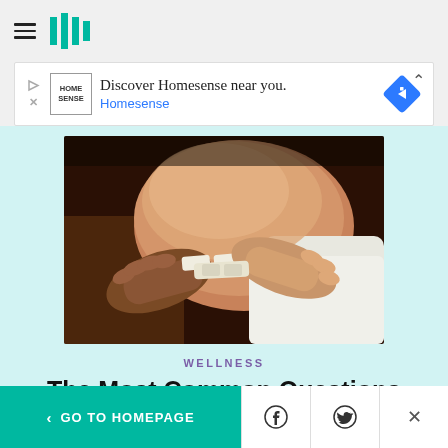HuffPost navigation with hamburger menu and logo
[Figure (other): Advertisement banner: Discover Homesense near you. Homesense logo with diamond navigation icon.]
[Figure (photo): Close-up photo of hands applying a bandage/plaster to a person's upper arm after a vaccine injection, against a white background.]
WELLNESS
The Most Common Questions About The Updated COVID Vaccine, Answered
< GO TO HOMEPAGE | Facebook share | Twitter share | Close